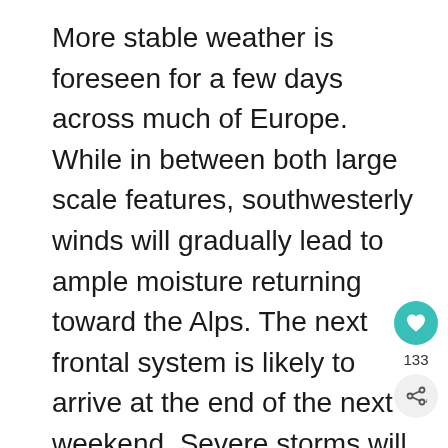More stable weather is foreseen for a few days across much of Europe. While in between both large scale features, southwesterly winds will gradually lead to ample moisture returning toward the Alps. The next frontal system is likely to arrive at the end of the next weekend. Severe storms will likely form after a period of hot days.
[Figure (other): Gray placeholder image area below the text block]